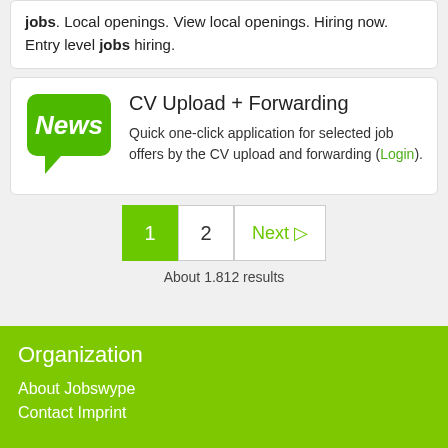jobs. Local openings. View local openings. Hiring now. Entry level jobs hiring.
[Figure (other): News speech bubble badge icon in green with white italic text 'News']
CV Upload + Forwarding
Quick one-click application for selected job offers by the CV upload and forwarding (Login).
1  2  Next ▷
About 1.812 results
Organization
About Jobswype
Contact Imprint